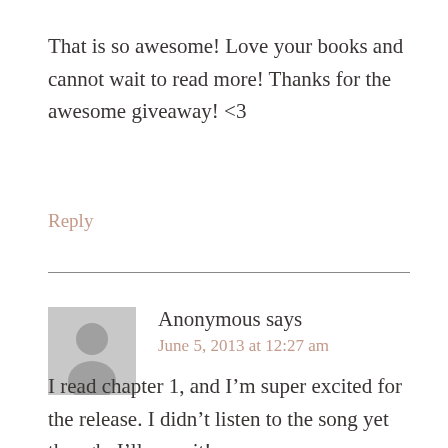That is so awesome! Love your books and cannot wait to read more! Thanks for the awesome giveaway! <3
Reply
Anonymous says
June 5, 2013 at 12:27 am
I read chapter 1, and I'm super excited for the release. I didn't listen to the song yet though. I'll cope it!